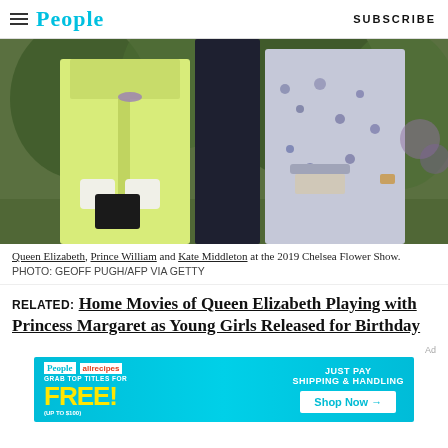People | SUBSCRIBE
[Figure (photo): Queen Elizabeth in yellow-green coat with gloves, Prince William in dark suit, and Kate Middleton in floral dress at the 2019 Chelsea Flower Show, outdoors with green foliage background.]
Queen Elizabeth, Prince William and Kate Middleton at the 2019 Chelsea Flower Show. PHOTO: GEOFF PUGH/AFP VIA GETTY
RELATED:  Home Movies of Queen Elizabeth Playing with Princess Margaret as Young Girls Released for Birthday
[Figure (infographic): People magazine advertisement: GRAB TOP TITLES FOR FREE! (UP TO $100) JUST PAY SHIPPING & HANDLING. Shop Now →]